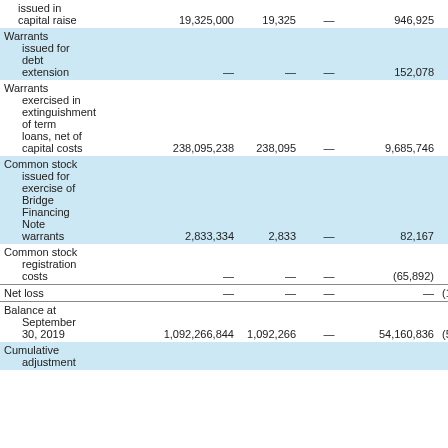| Description | Shares | Amount | Col3 | Additional Paid-in Capital | Accumulated Deficit |
| --- | --- | --- | --- | --- | --- |
| issued in capital raise | 19,325,000 | 19,325 | — | 946,925 |  |
| Warrants issued for debt extension | — | — | — | 152,078 |  |
| Warrants exercised in extinguishment of term loans, net of capital costs | 238,095,238 | 238,095 | — | 9,685,746 |  |
| Common stock issued for exercise of Bridge Financing Note warrants | 2,833,334 | 2,833 | — | 82,167 |  |
| Common stock registration costs | — | — | — | (65,892) |  |
| Net loss | — | — | — | — | (13,723,7… |
| Balance at September 30, 2019 | 1,092,266,844 | 1,092,266 | — | 54,160,836 | (55,582,0… |
| Cumulative adjustment |  |  |  |  |  |